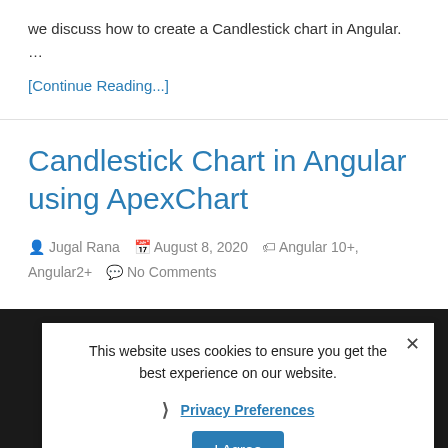we discuss how to create a Candlestick chart in Angular. …
[Continue Reading...]
Candlestick Chart in Angular using ApexChart
Jugal Rana  August 8, 2020  Angular 10+, Angular2+  No Comments
[Figure (screenshot): Dark background image showing 'Candlestick Charts in Angular Using ApexChart' text with Angular logo, overlaid by a cookie consent banner saying 'This website uses cookies to ensure you get the best experience on our website.' with Privacy Preferences link and I Agree button]